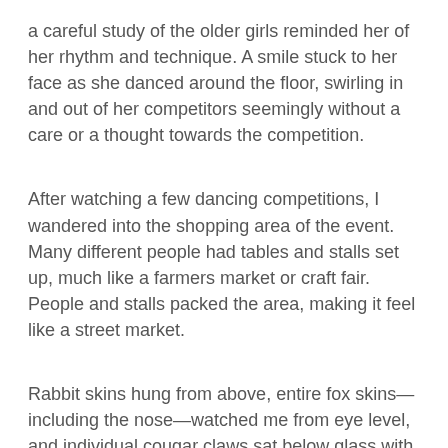a careful study of the older girls reminded her of her rhythm and technique. A smile stuck to her face as she danced around the floor, swirling in and out of her competitors seemingly without a care or a thought towards the competition.
After watching a few dancing competitions, I wandered into the shopping area of the event. Many different people had tables and stalls set up, much like a farmers market or craft fair. People and stalls packed the area, making it feel like a street market.
Rabbit skins hung from above, entire fox skins—including the nose—watched me from eye level, and individual cougar claws sat below glass with an accompanying price tag of $30 per claw. Handcrafted jewelry covered tables, intricately beaded clothes,